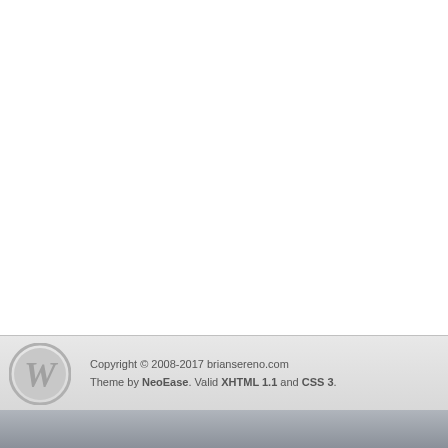Copyright © 2008-2017 briansereno.com
Theme by NeoEase. Valid XHTML 1.1 and CSS 3.